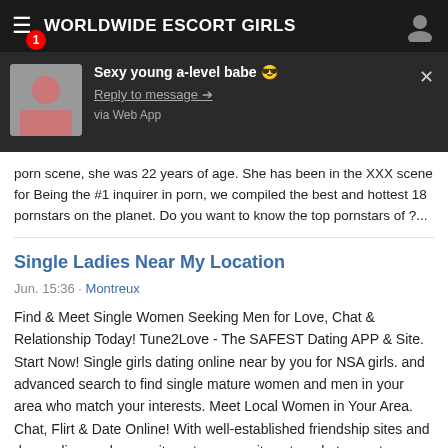WORLDWIDE ESCORT GIRLS
[Figure (screenshot): Push notification popup showing 'Sexy young a-level babe' with Reply to message link and via Web App text, overlaid on dark background]
porn scene, she was 22 years of age. She has been in the XXX scene for Being the #1 inquirer in porn, we compiled the best and hottest 18 pornstars on the planet. Do you want to know the top pornstars of ?...
Single Ladies Near My Location
Jun. 15:36 · Montreux
Find & Meet Single Women Seeking Men for Love, Chat & Relationship Today! Tune2Love - The SAFEST Dating APP & Site. Start Now! Single girls dating online near by you for NSA girls. and advanced search to find single mature women and men in your area who match your interests. Meet Local Women in Your Area. Chat, Flirt & Date Online! With well-established friendship sites and demanding work commitments, many sites struggle to meet new. Single women near me. likes · talking about this. How to find single women near me? A number of people ask this question with friends but this....